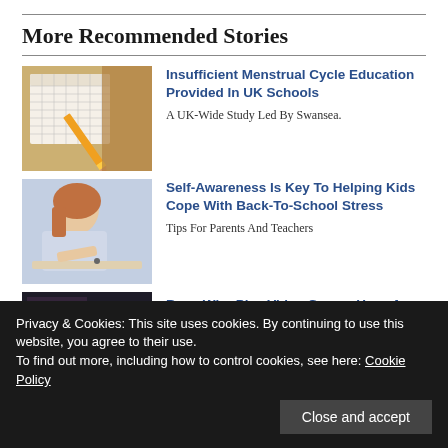More Recommended Stories
[Figure (photo): Calendar with pencil on wooden desk]
Insufficient Menstrual Cycle Education Provided In UK Schools
A UK-Wide Study Led By Swansea.
[Figure (photo): Young girl with red hair writing at desk]
Self-Awareness Is Key To Helping Kids Cope With Back-To-School Stress
Tips For Parents And Teachers
[Figure (photo): Dark image partially visible at bottom]
Boys Who Play Video Games Have A Lower Depression
Problems & Improve Well-
Privacy & Cookies: This site uses cookies. By continuing to use this website, you agree to their use. To find out more, including how to control cookies, see here: Cookie Policy
Close and accept